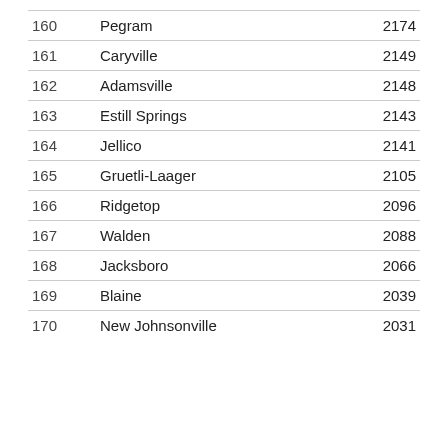| Rank | City | Population |
| --- | --- | --- |
| 160 | Pegram | 2174 |
| 161 | Caryville | 2149 |
| 162 | Adamsville | 2148 |
| 163 | Estill Springs | 2143 |
| 164 | Jellico | 2141 |
| 165 | Gruetli-Laager | 2105 |
| 166 | Ridgetop | 2096 |
| 167 | Walden | 2088 |
| 168 | Jacksboro | 2066 |
| 169 | Blaine | 2039 |
| 170 | New Johnsonville | 2031 |